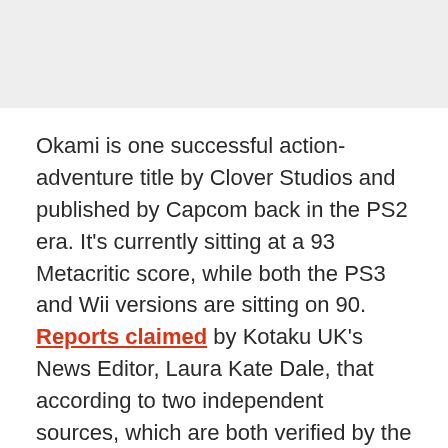Okami is one successful action-adventure title by Clover Studios and published by Capcom back in the PS2 era. It's currently sitting at a 93 Metacritic score, while both the PS3 and Wii versions are sitting on 90. Reports claimed by Kotaku UK's News Editor, Laura Kate Dale, that according to two independent sources, which are both verified by the publication, Capcom is planning to launch Okami HD on both PS4 and Xbox One on December of this year.